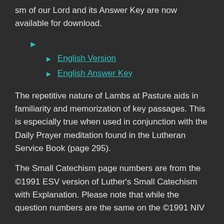sm of our Lord and its Answer Key are now available for download.
English Version
English Answer Key
The repetitive nature of Lambs at Pasture aids in familiarity and memorization of key passages. This is especially true when used in conjunction with the Daily Prayer meditation found in the Lutheran Service Book (page 295).
The Small Catechism page numbers are from the ©1991 ESV version of Luther's Small Catechism with Explanation. Please note that while the question numbers are the same on the ©1991 NIV